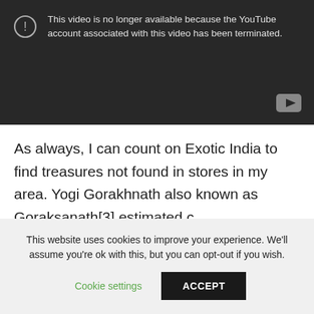[Figure (screenshot): YouTube video unavailable error screen showing a circle with exclamation mark icon and message: 'This video is no longer available because the YouTube account associated with this video has been terminated.' YouTube logo icon at bottom right of the dark player.]
As always, I can count on Exotic India to find treasures not found in stores in my area. Yogi Gorakhnath also known as Goraksanath[3] estimated c.
This website uses cookies to improve your experience. We'll assume you're ok with this, but you can opt-out if you wish.
Cookie settings   ACCEPT